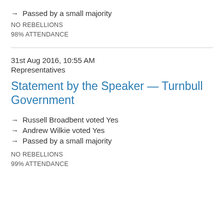→ Passed by a small majority
NO REBELLIONS
98% ATTENDANCE
31st Aug 2016, 10:55 AM
Representatives
Statement by the Speaker — Turnbull Government
→ Russell Broadbent voted Yes
→ Andrew Wilkie voted Yes
→ Passed by a small majority
NO REBELLIONS
99% ATTENDANCE